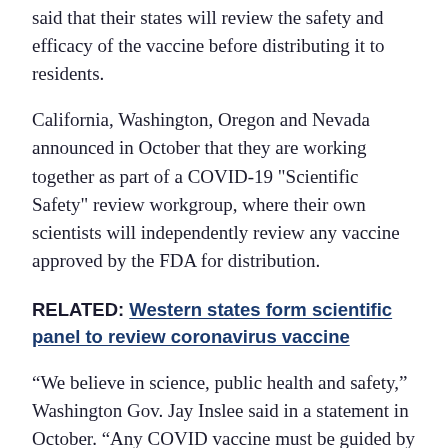said that their states will review the safety and efficacy of the vaccine before distributing it to residents.
California, Washington, Oregon and Nevada announced in October that they are working together as part of a COVID-19 "Scientific Safety" review workgroup, where their own scientists will independently review any vaccine approved by the FDA for distribution.
RELATED: Western states form scientific panel to review coronavirus vaccine
“We believe in science, public health and safety,” Washington Gov. Jay Inslee said in a statement in October. “Any COVID vaccine must be guided by the expertise of scientists and medical professionals and that’s just what this workgroup will do. The Western